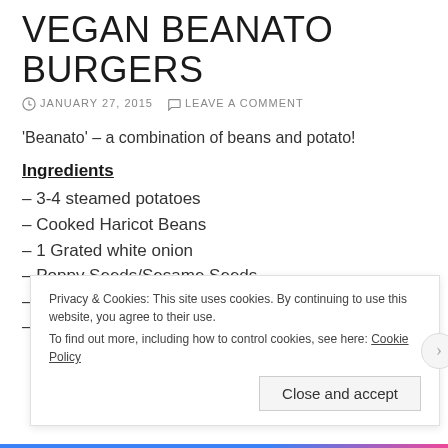VEGAN BEANATO BURGERS
JANUARY 27, 2015   LEAVE A COMMENT
'Beanato' – a combination of beans and potato!
Ingredients
– 3-4 steamed potatoes
– Cooked Haricot Beans
– 1 Grated white onion
– Poppy Seeds/Sesame Seeds
– Olive Oil
– Salt/pepper/seasoning of choice
Privacy & Cookies: This site uses cookies. By continuing to use this website, you agree to their use. To find out more, including how to control cookies, see here: Cookie Policy
Close and accept